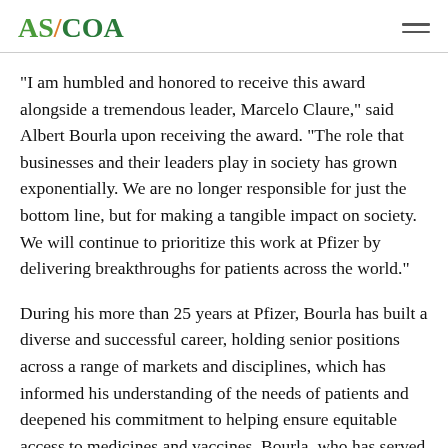AS/COA
“I am humbled and honored to receive this award alongside a tremendous leader, Marcelo Claure,” said Albert Bourla upon receiving the award. “The role that businesses and their leaders play in society has grown exponentially. We are no longer responsible for just the bottom line, but for making a tangible impact on society. We will continue to prioritize this work at Pfizer by delivering breakthroughs for patients across the world.”
During his more than 25 years at Pfizer, Bourla has built a diverse and successful career, holding senior positions across a range of markets and disciplines, which has informed his understanding of the needs of patients and deepened his commitment to helping ensure equitable access to medicines and vaccines. Bourla, who has served as Pfizer’s CEO since 2019, is a doctor of veterinary medicine and holds a Ph.D. from the Veterinary School of Aristotle University. In 2022 h…